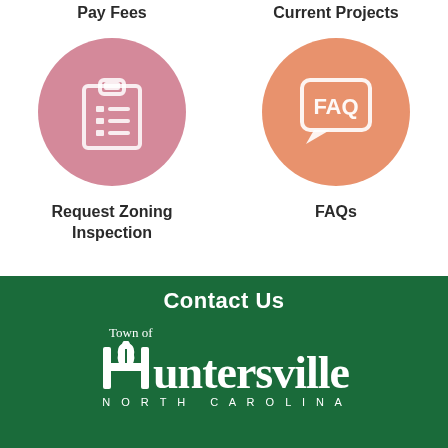Pay Fees
Current Projects
[Figure (illustration): Pink circle with white clipboard/checklist icon representing Pay Fees]
[Figure (illustration): Orange circle with white speech bubble FAQ icon representing FAQs]
Request Zoning Inspection
FAQs
Contact Us
[Figure (logo): Town of Huntersville North Carolina white logo on dark green background]